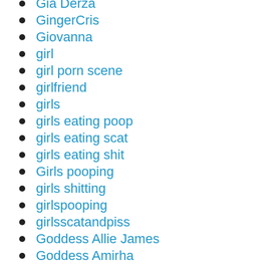Gia Derza
GingerCris
Giovanna
girl
girl porn scene
girlfriend
girls
girls eating poop
girls eating scat
girls eating shit
Girls pooping
girls shitting
girlspooping
girlsscatandpiss
Goddess Allie James
Goddess Amirha